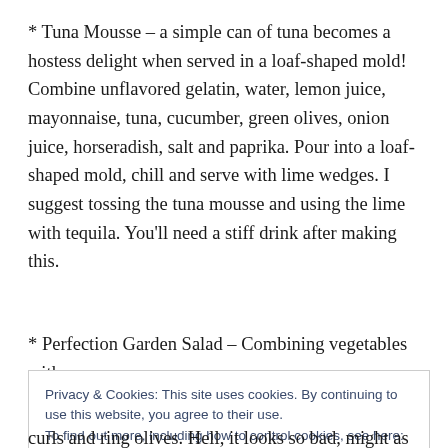* Tuna Mousse – a simple can of tuna becomes a hostess delight when served in a loaf-shaped mold! Combine unflavored gelatin, water, lemon juice, mayonnaise, tuna, cucumber, green olives, onion juice, horseradish, salt and paprika. Pour into a loaf-shaped mold, chill and serve with lime wedges. I suggest tossing the tuna mousse and using the lime with tequila. You'll need a stiff drink after making this.
* Perfection Garden Salad – Combining vegetables with
Privacy & Cookies: This site uses cookies. By continuing to use this website, you agree to their use. To find out more, including how to control cookies, see here: Cookie Policy
Close and accept
curls and ring olives. Hell, it looks so bad, might as well